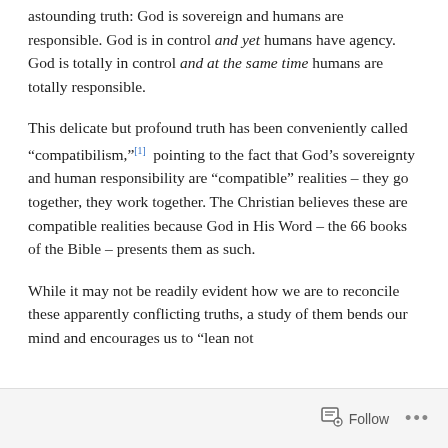astounding truth: God is sovereign and humans are responsible. God is in control and yet humans have agency. God is totally in control and at the same time humans are totally responsible.
This delicate but profound truth has been conveniently called “compatibilism,”[1] pointing to the fact that God’s sovereignty and human responsibility are “compatible” realities – they go together, they work together. The Christian believes these are compatible realities because God in His Word – the 66 books of the Bible – presents them as such.
While it may not be readily evident how we are to reconcile these apparently conflicting truths, a study of them bends our mind and encourages us to “lean not
Follow